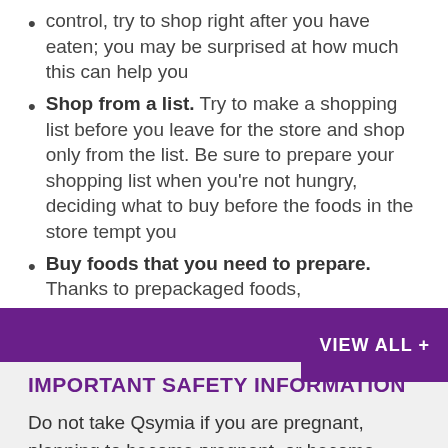control, try to shop right after you have eaten; you may be surprised at how much this can help you
Shop from a list. Try to make a shopping list before you leave for the store and shop only from the list. Be sure to prepare your shopping list when you're not hungry, deciding what to buy before the foods in the store tempt you
Buy foods that you need to prepare. Thanks to prepackaged foods,
VIEW ALL +
IMPORTANT SAFETY INFORMATION
Do not take Qsymia if you are pregnant, planning to become pregnant, or become pregnant during Qsymia treatment; have glaucoma; have thyroid